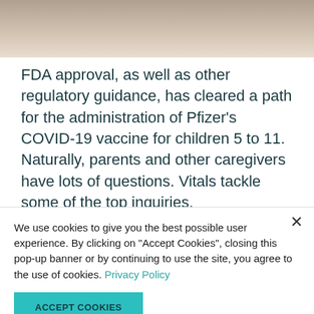[Figure (photo): Partial photo of a child being examined or vaccinated, cropped at the top of the page]
FDA approval, as well as other regulatory guidance, has cleared a path for the administration of Pfizer’s COVID-19 vaccine for children 5 to 11.  Naturally, parents and other caregivers have lots of questions. Vitals tackle some of the top inquiries.
Is the vaccine safe for children 5 to 11 years old?
We use cookies to give you the best possible user experience. By clicking on "Accept Cookies", closing this pop-up banner or by continuing to use the site, you agree to the use of cookies. Privacy Policy
ACCEPT COOKIES